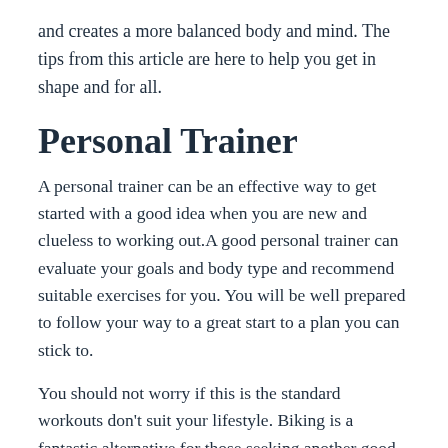and creates a more balanced body and mind. The tips from this article are here to help you get in shape and for all.
Personal Trainer
A personal trainer can be an effective way to get started with a good idea when you are new and clueless to working out.A good personal trainer can evaluate your goals and body type and recommend suitable exercises for you. You will be well prepared to follow your way to a great start to a plan you can stick to.
You should not worry if this is the standard workouts don't suit your lifestyle. Biking is a fantastic alternative for those seeking another good way to keep fit. Biking is a great way to burn some calories and save some gas.
When you exercise, you need to exhale each time you finish a repetition.